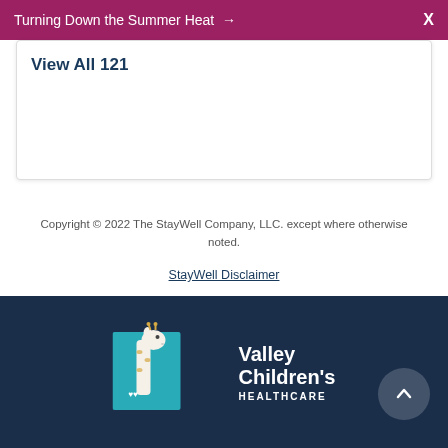Turning Down the Summer Heat →   X
View All 121
Copyright © 2022 The StayWell Company, LLC. except where otherwise noted.
StayWell Disclaimer
[Figure (logo): Valley Children's Healthcare logo with giraffe mascot on dark navy footer background]